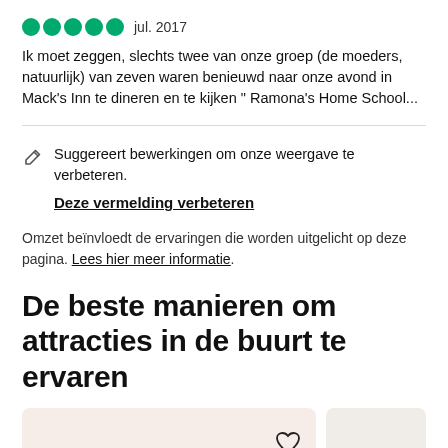[Figure (other): Five green filled circles representing a 5-star rating]
jul. 2017
Ik moet zeggen, slechts twee van onze groep (de moeders, natuurlijk) van zeven waren benieuwd naar onze avond in Mack's Inn te dineren en te kijken " Ramona's Home School...
Suggereert bewerkingen om onze weergave te verbeteren.
Deze vermelding verbeteren
Omzet beïnvloedt de ervaringen die worden uitgelicht op deze pagina. Lees hier meer informatie.
De beste manieren om attracties in de buurt te ervaren
[Figure (other): Two card placeholders in pinkish-beige color at the bottom, the left card has a heart icon]